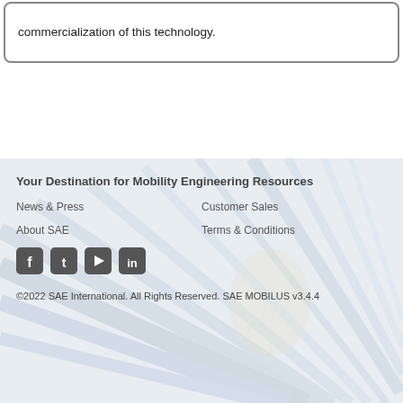commercialization of this technology.
Your Destination for Mobility Engineering Resources
News & Press
Customer Sales
About SAE
Terms & Conditions
[Figure (other): Social media icons: Facebook, Twitter, YouTube, LinkedIn]
©2022 SAE International. All Rights Reserved. SAE MOBILUS v3.4.4